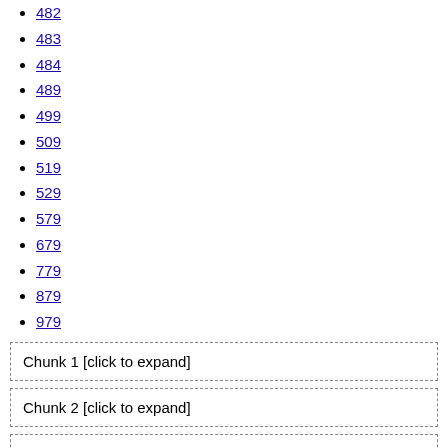482
483
484
489
499
509
519
529
579
679
779
879
979
Chunk 1 [click to expand]
Chunk 2 [click to expand]
Chunk 3 [click to expand]
Chunk 4 [click to expand]
Chunk 5 [click to expand]